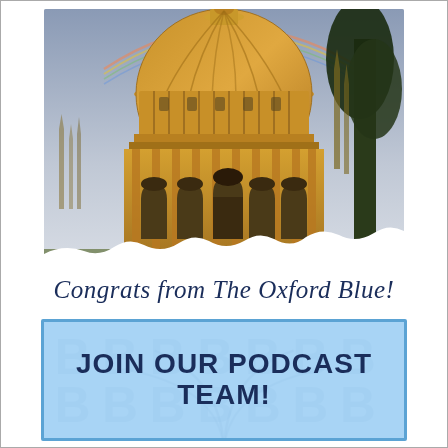[Figure (photo): Photograph of the Radcliffe Camera building at Oxford University, a large circular Baroque-style building in golden limestone with a large dome, taken from ground level looking up. A rainbow is visible in the grey sky above, and a tree is visible on the right. Gothic spires visible in the background.]
Congrats from The Oxford Blue!
[Figure (infographic): Light blue banner with dark blue border containing the text 'JOIN OUR PODCAST TEAM!' in bold dark navy font. Background shows faded 'B' letters and partial circular arc design elements in a slightly darker blue.]